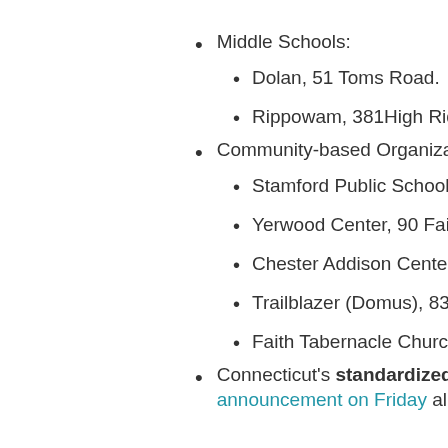Middle Schools:
Dolan, 51 Toms Road.
Rippowam, 381High Ridge R
Community-based Organizations
Stamford Public Schools And
Yerwood Center, 90 Fairfield
Chester Addison Center, 245
Trailblazer (Domus), 83 Lock
Faith Tabernacle Church, 29
Connecticut's standardized tes announcement on Friday allow